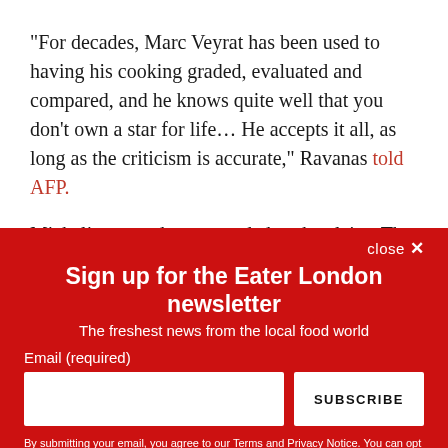“For decades, Marc Veyrat has been used to having his cooking graded, evaluated and compared, and he knows quite well that you don’t own a star for life… He accepts it all, as long as the criticism is accurate,” Ravanas told AFP.
Michelin yesterday responded to the claim: The company said it “understands the disappointment for Mr Veyrat,
close ×
Sign up for the Eater London newsletter
The freshest news from the local food world
Email (required)
SUBSCRIBE
By submitting your email, you agree to our Terms and Privacy Notice. You can opt out at any time. This site is protected by reCAPTCHA and the Google Privacy Policy and Terms of Service apply.